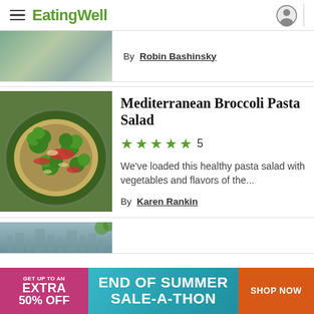EatingWell
By Robin Bashinsky
[Figure (photo): Partial food photo at top of page, showing a salad bowl with vegetables]
Mediterranean Broccoli Pasta Salad
★★★★★ 5
We've loaded this healthy pasta salad with vegetables and flavors of the...
By Karen Rankin
[Figure (photo): Bowl of Mediterranean Broccoli Pasta Salad with broccoli, pasta, and red peppers]
[Figure (photo): Partial food photo at bottom of page]
GET UP TO AN EXTRA 50% OFF  END OF SUMMER SALE-A-THON  SHOP NOW